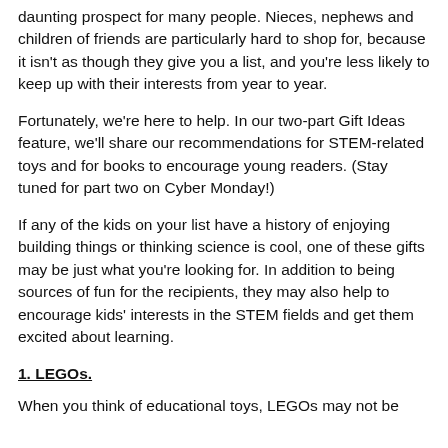daunting prospect for many people. Nieces, nephews and children of friends are particularly hard to shop for, because it isn't as though they give you a list, and you're less likely to keep up with their interests from year to year.
Fortunately, we're here to help. In our two-part Gift Ideas feature, we'll share our recommendations for STEM-related toys and for books to encourage young readers. (Stay tuned for part two on Cyber Monday!)
If any of the kids on your list have a history of enjoying building things or thinking science is cool, one of these gifts may be just what you're looking for. In addition to being sources of fun for the recipients, they may also help to encourage kids' interests in the STEM fields and get them excited about learning.
1. LEGOs.
When you think of educational toys, LEGOs may not be